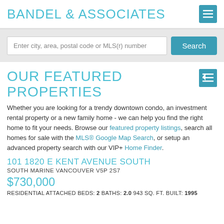BANDEL & ASSOCIATES
Enter city, area, postal code or MLS(r) number
OUR FEATURED PROPERTIES
Whether you are looking for a trendy downtown condo, an investment rental property or a new family home - we can help you find the right home to fit your needs. Browse our featured property listings, search all homes for sale with the MLS® Google Map Search, or setup an advanced property search with our VIP+ Home Finder.
101 1820 E KENT AVENUE SOUTH
SOUTH MARINE VANCOUVER V5P 2S7
$730,000
RESIDENTIAL ATTACHED BEDS: 2 BATHS: 2.0 943 SQ. FT. BUILT: 1995